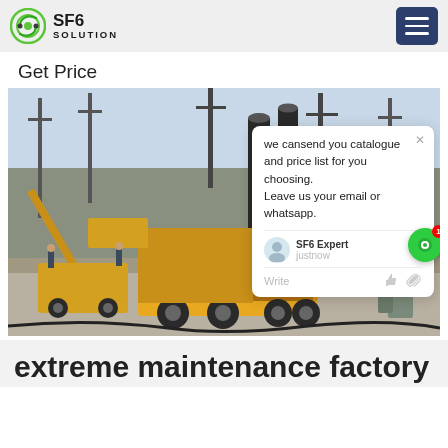SF6 SOLUTION
Get Price
[Figure (photo): Yellow Isuzu maintenance truck at an electrical substation with high-voltage transmission infrastructure in the background. Multiple yellow vehicles and workers visible. Chat popup overlay visible.]
extreme maintenance factory